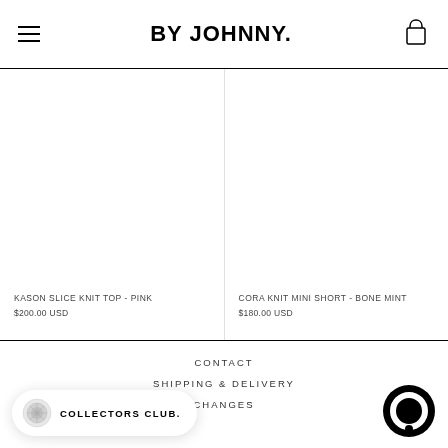BY JOHNNY.
KASON SLICE KNIT TOP - PINK
$200.00 USD
CORA KNIT MINI SHORT - BONE MINT
$180.00 USD
CONTACT
SHIPPING & DELIVERY
CHANGES
COLLECTORS CLUB.